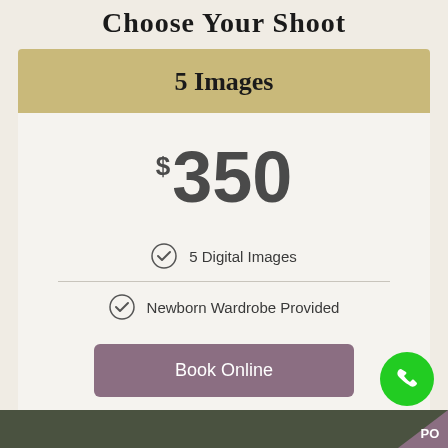Choose Your Shoot
5 Images
$350
5 Digital Images
Newborn Wardrobe Provided
Book Online